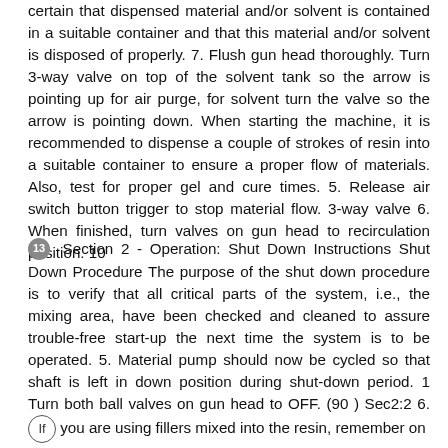certain that dispensed material and/or solvent is contained in a suitable container and that this material and/or solvent is disposed of properly. 7. Flush gun head thoroughly. Turn 3-way valve on top of the solvent tank so the arrow is pointing up for air purge, for solvent turn the valve so the arrow is pointing down. When starting the machine, it is recommended to dispense a couple of strokes of resin into a suitable container to ensure a proper flow of materials. Also, test for proper gel and cure times. 5. Release air switch button trigger to stop material flow. 3-way valve 6. When finished, turn valves on gun head to recirculation position. 10
13 Section 2 - Operation: Shut Down Instructions Shut Down Procedure The purpose of the shut down procedure is to verify that all critical parts of the system, i.e., the mixing area, have been checked and cleaned to assure trouble-free start-up the next time the system is to be operated. 5. Material pump should now be cycled so that shaft is left in down position during shut-down period. 1 Turn both ball valves on gun head to OFF. (90 ) Sec2:2 6. If you are using fillers mixed into the resin, remember on